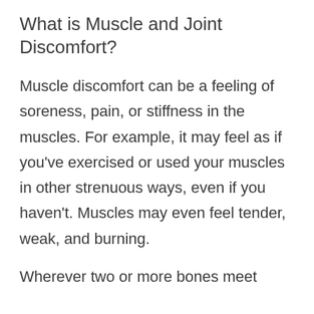What is Muscle and Joint Discomfort?
Muscle discomfort can be a feeling of soreness, pain, or stiffness in the muscles. For example, it may feel as if you’ve exercised or used your muscles in other strenuous ways, even if you haven’t. Muscles may even feel tender, weak, and burning.
Wherever two or more bones meet